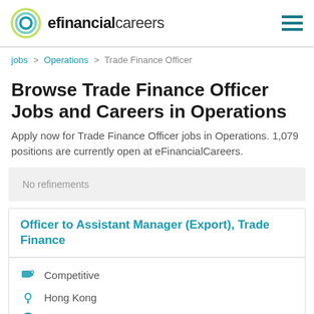efinancialcareers
jobs > Operations > Trade Finance Officer
Browse Trade Finance Officer Jobs and Careers in Operations
Apply now for Trade Finance Officer jobs in Operations. 1,079 positions are currently open at eFinancialCareers.
No refinements
Officer to Assistant Manager (Export), Trade Finance
Competitive
Hong Kong
Permanent, Full time
Non-disclosed